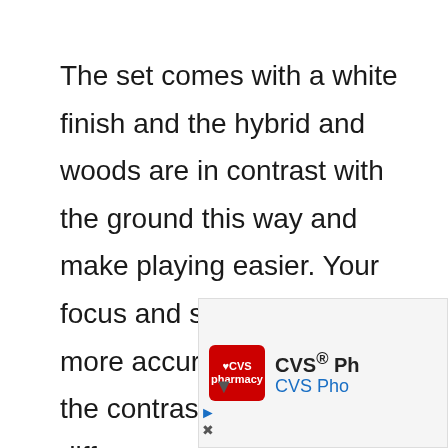The set comes with a white finish and the hybrid and woods are in contrast with the ground this way and make playing easier. Your focus and shots become more accurate and perfect if the contrast or the color difference
[Figure (other): CVS Pharmacy advertisement banner showing CVS logo with heart icon, text 'CVS® Ph...' and 'CVS Pho...' partially visible, with navigation/close controls]